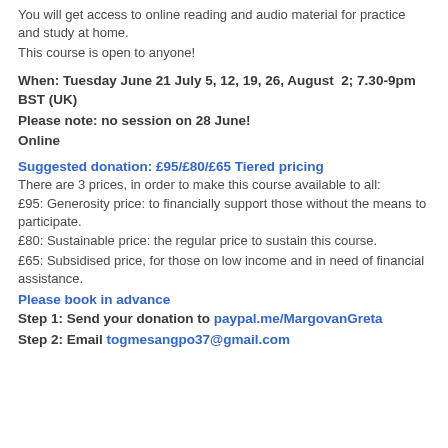You will get access to online reading and audio material for practice and study at home.
This course is open to anyone!
When: Tuesday June 21 July 5, 12, 19, 26, August 2; 7.30-9pm BST (UK)
Please note: no session on 28 June!
Online
Suggested donation: £95/£80/£65 Tiered pricing
There are 3 prices, in order to make this course available to all:
£95: Generosity price: to financially support those without the means to participate.
£80: Sustainable price: the regular price to sustain this course.
£65: Subsidised price, for those on low income and in need of financial assistance.
Please book in advance
Step 1: Send your donation to paypal.me/MargovanGreta
Step 2: Email togmesangpo37@gmail.com